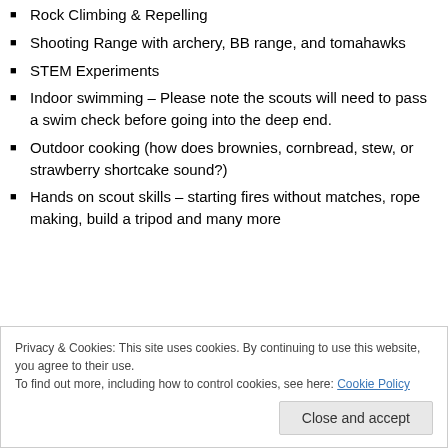Rock Climbing & Repelling
Shooting Range with archery, BB range, and tomahawks
STEM Experiments
Indoor swimming – Please note the scouts will need to pass a swim check before going into the deep end.
Outdoor cooking (how does brownies, cornbread, stew, or strawberry shortcake sound?)
Hands on scout skills – starting fires without matches, rope making, build a tripod and many more
Privacy & Cookies: This site uses cookies. By continuing to use this website, you agree to their use. To find out more, including how to control cookies, see here: Cookie Policy